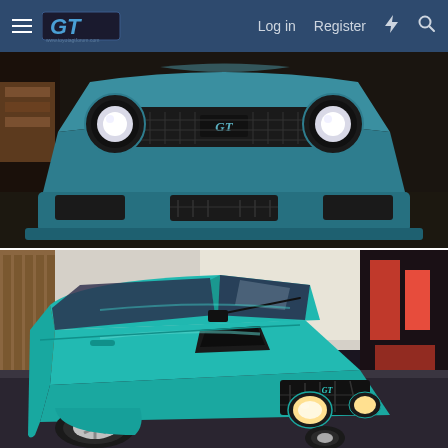GT Forum — Log in | Register
[Figure (photo): Close-up front view of a teal/blue Toyota GT car showing the front grille with GT badge, dual round headlights, and front bumper in a garage setting.]
[Figure (photo): Three-quarter front view of a teal Toyota GT hatchback in a garage. The car has a hood scoop, GT badging on the front grille, round headlights, and aftermarket alloy wheels.]